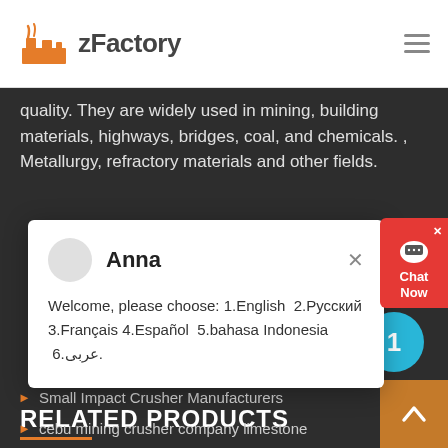zFactory
quality. They are widely used in mining, building materials, highways, bridges, coal, and chemicals. , Metallurgy, refractory materials and other fields.
[Figure (screenshot): Chat popup dialog with avatar for Anna, showing language selection prompt: Welcome, please choose: 1.English 2.Русский 3.Français 4.Español 5.bahasa Indonesia 6.عربى.]
Small Impact Crusher Manufacturers
cebu mining crusher company limestone
of rock crushing machines etc
Upgrading Iron Fines For Sinter
RELATED PRODUCTS